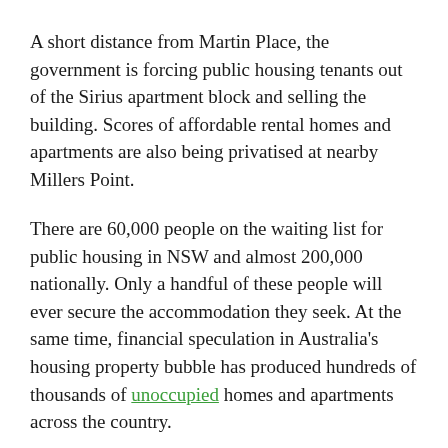A short distance from Martin Place, the government is forcing public housing tenants out of the Sirius apartment block and selling the building. Scores of affordable rental homes and apartments are also being privatised at nearby Millers Point.
There are 60,000 people on the waiting list for public housing in NSW and almost 200,000 nationally. Only a handful of these people will ever secure the accommodation they seek. At the same time, financial speculation in Australia's housing property bubble has produced hundreds of thousands of unoccupied homes and apartments across the country.
Organisers of the Martin Place tent city claimed the protest would 'shine a light' on homelessness and pressure the state government to increase the number of crisis accommodation places. Confronted with the new laws, protest leaders directed the participants to pull down their tents and vacate Martin Place. According to protest organisers, at least 20 percent of